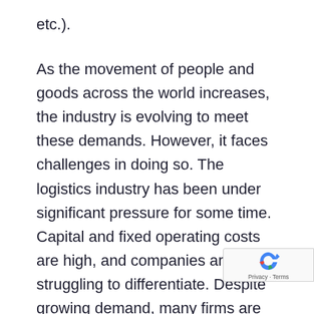etc.).
As the movement of people and goods across the world increases, the industry is evolving to meet these demands. However, it faces challenges in doing so. The logistics industry has been under significant pressure for some time. Capital and fixed operating costs are high, and companies are struggling to differentiate. Despite growing demand, many firms are suffering from eroding margins. The UK market exemplifies these issues, with revenue growth across the industry low or negative. The COVID-19 pandemic has exacerbated these issues and thrown up unforeseen challenges, with the airline indus...
[Figure (other): reCAPTCHA badge with Google logo icon and Privacy - Terms text]